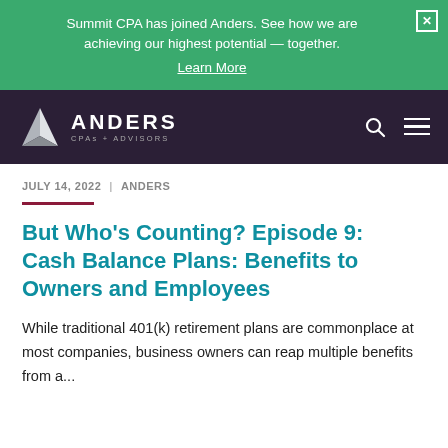Summit CPA has joined Anders. See how we are achieving our highest potential — together. Learn More
[Figure (logo): Anders CPAs + Advisors logo with triangular geometric mark]
JULY 14, 2022  |  ANDERS
But Who's Counting? Episode 9: Cash Balance Plans: Benefits to Owners and Employees
While traditional 401(k) retirement plans are commonplace at most companies, business owners can reap multiple benefits from a...